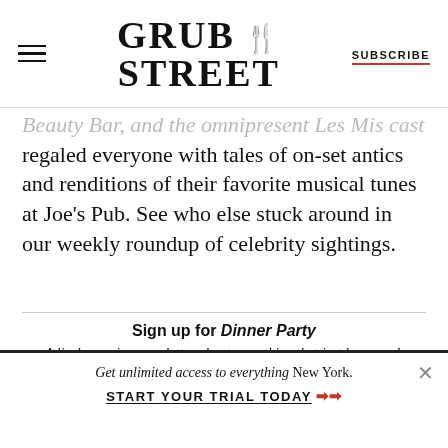GRUB STREET | SUBSCRIBE
Beauty Bar, and the omnipresent Les Mis cast regaled everyone with tales of on-set antics and renditions of their favorite musical tunes at Joe's Pub. See who else stuck around in our weekly roundup of celebrity sightings.
Sign up for Dinner Party
A lively evening newsletter about everything that just happened.
Enter your email | SIGN UP
Get unlimited access to everything New York. START YOUR TRIAL TODAY →→